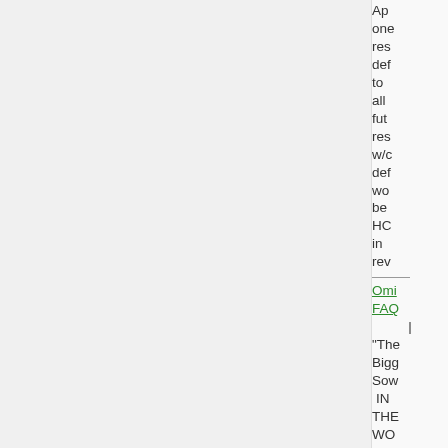Ap one res def to all fut res w/c def wo be HC in rev
Omi FAQ | "The Bigg Sow IN THE WO - Che